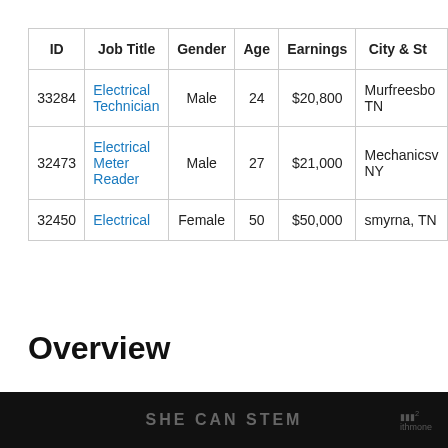| ID | Job Title | Gender | Age | Earnings | City & Sta... |
| --- | --- | --- | --- | --- | --- |
| 33284 | Electrical Technician | Male | 24 | $20,800 | Murfreesbo... TN |
| 32473 | Electrical Meter Reader | Male | 27 | $21,000 | Mechanicsv... NY |
| 32450 | Electrical | Female | 50 | $50,000 | smyrna, TN... |
Overview
What...
SHE CAN STEM